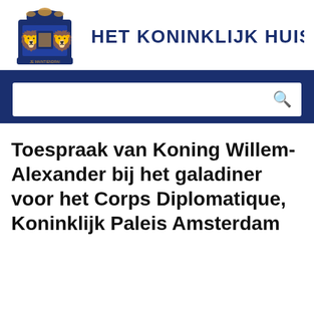[Figure (logo): Dutch Royal coat of arms / Het Koninklijk Huis crest in dark blue]
HET KONINKLIJK HUIS
[Figure (screenshot): Dark blue navigation bar with gold/orange chevron symbols and a white search box with magnifier icon]
Toespraak van Koning Willem-Alexander bij het galadiner voor het Corps Diplomatique, Koninklijk Paleis Amsterdam